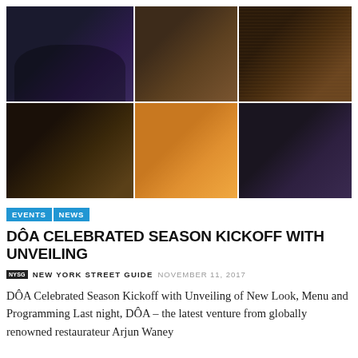[Figure (photo): Collage of six event photos from DÔA restaurant: people posing, food items, bar interior, cocktail drink, and group shots]
EVENTS | NEWS
DÔA CELEBRATED SEASON KICKOFF WITH UNVEILING
NYSG  NEW YORK STREET GUIDE  NOVEMBER 11, 2017
DÔA Celebrated Season Kickoff with Unveiling of New Look, Menu and Programming Last night, DÔA – the latest venture from globally renowned restaurateur Arjun Waney